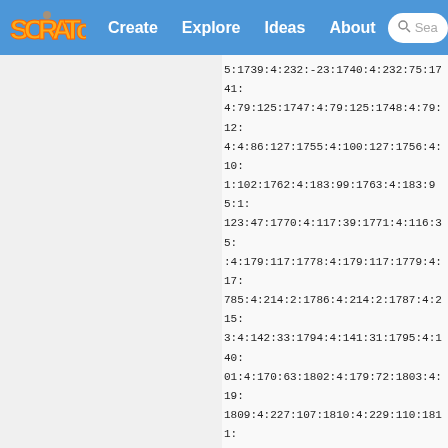Scratch | Create | Explore | Ideas | About | Search
[Figure (screenshot): Blank left panel area, light gray background]
5:1739:4:232:-23:1740:4:232:75:1741: 4:79:125:1747:4:79:125:1748:4:79:12: 4:4:86:127:1755:4:100:127:1756:4:10: 1:102:1762:4:183:99:1763:4:183:95:1: 123:47:1770:4:117:39:1771:4:116:35: :4:179:117:1778:4:179:117:1779:4:17: 785:4:214:2:1786:4:214:2:1787:4:215: 3:4:142:33:1794:4:141:31:1795:4:140: 01:4:170:63:1802:4:179:72:1803:4:19: 1809:4:227:107:1810:4:229:110:1811: 4:194:41:1817:4:194:39:1818:4:194:3: 4:4:234:66:1825:4:234:66:1826:4:234: 38:1832:4:210:139:1833:4:206:144:18: 839:4:206:152:1840:4:209:155:1841:4: 4:214:161:1847:4:214:161:1848:4:214: 4:161:1854:4:214:161:1855:4:214:161: 1:1861:4:214:161:1862:4:214:161:186: 68:4:222:166:1869:4:228:167:1870:4: 234:169:1876:4:235:169:1877:4:235:1: 169:1883:4:232:165:1884:4:228:159:1: 1890:4:227:136:1891:4:228:133:1892: :4:207:151:1898:4:181:170:1899:4:85: 905:4:79:162:1906:4:79:162:1907:4:7: 1913:4:49:169:1914:4:49:169:1915:4: 0:1921:4:111:155:1922:4:113:154:192: 28:4:113:154:1929:4:113:154:1930:4: 114:154:1936:4:114:154:1937:4:114:1: 154:1943:4:114:154:1944:4:114:1